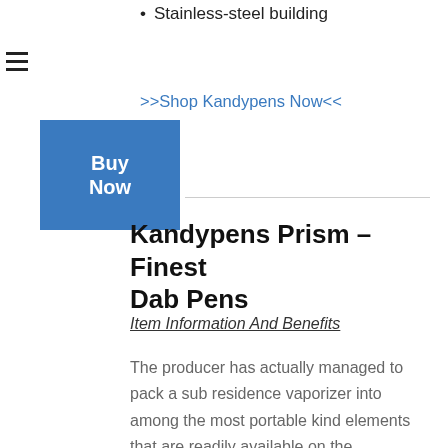Stainless-steel building
>>Shop Kandypens Now<<
Buy Now
Kandypens Prism – Finest Dab Pens
Item Information And Benefits
The producer has actually managed to pack a sub residence vaporizer into among the most portable kind elements that are readily available on the marketplace today. You will certainly not battle to keep this one